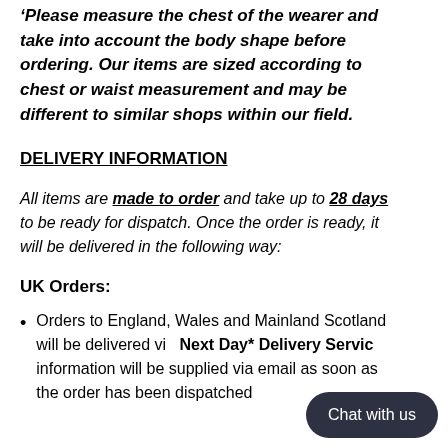Please measure the chest of the wearer and take into account the body shape before ordering. Our items are sized according to chest or waist measurement and may be different to similar shops within our field.
DELIVERY INFORMATION
All items are made to order and take up to 28 days to be ready for dispatch. Once the order is ready, it will be delivered in the following way:
UK Orders:
Orders to England, Wales and Mainland Scotland will be delivered via Next Day* Delivery Service. information will be supplied via email as soon as the order has been dispatched